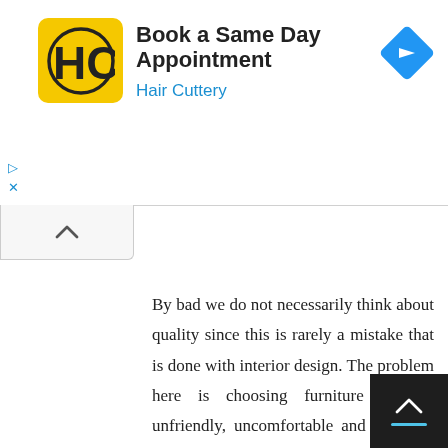[Figure (logo): Hair Cuttery advertisement banner with HC logo (black H and C on yellow background), title 'Book a Same Day Appointment', subtitle 'Hair Cuttery', and a blue diamond navigation icon on the right]
By bad we do not necessarily think about quality since this is rarely a mistake that is done with interior design. The problem here is choosing furniture that is unfriendly, uncomfortable and that will simply not actually be used on the long run. We also have positioning problems that tend to appear, like adding a chair right in the corner of the room. Clustering furniture is normally preferred. You just have to maintain flow so do not focus on out of the setting